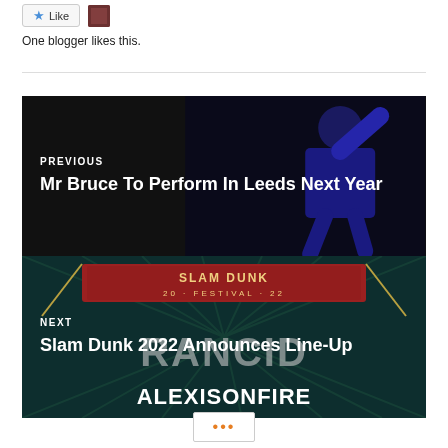[Figure (screenshot): Like button with star icon and a small avatar thumbnail]
One blogger likes this.
[Figure (photo): Previous post navigation card with dark background showing a bald performer in blue outfit. Label: PREVIOUS. Title: Mr Bruce To Perform In Leeds Next Year]
[Figure (photo): Next post navigation card with Slam Dunk Festival artwork showing RANCID and ALEXISONFIRE text. Label: NEXT. Title: Slam Dunk 2022 Announces Line-Up]
[Figure (other): Pagination more button with three orange dots]